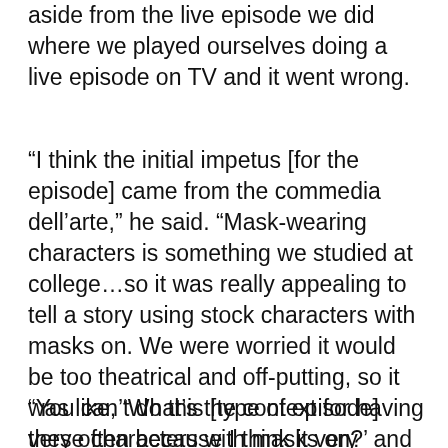aside from the live episode we did where we played ourselves doing a live episode on TV and it went wrong.
“I think the initial impetus [for the episode] came from the commedia dell’arte,” he said. “Mask-wearing characters is something we studied at college…so it was really appealing to tell a story using stock characters with masks on. We were worried it would be too theatrical and off-putting, so it was like, ‘What’s the context for having these characters with masks on?’ and we somehow ended up at heist movies.
“You can’t do this [type of episode] very often because I think it very quickly looks like a last resort that you’ve run out of ideas